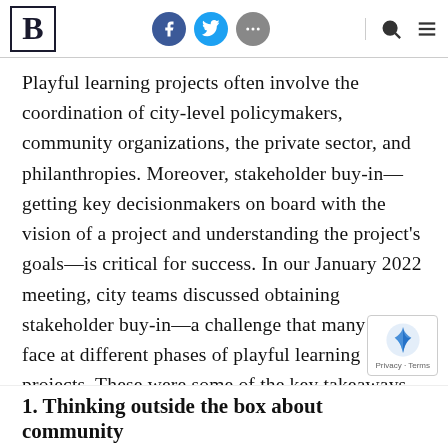B [Brookings logo with Facebook, Twitter, more, search, menu icons]
Playful learning projects often involve the coordination of city-level policymakers, community organizations, the private sector, and philanthropies. Moreover, stakeholder buy-in—getting key decisionmakers on board with the vision of a project and understanding the project's goals—is critical for success. In our January 2022 meeting, city teams discussed obtaining stakeholder buy-in—a challenge that many teams face at different phases of playful learning projects. These were some of the key takeaways from the city presentations and discussion.
1. Thinking outside the box about community